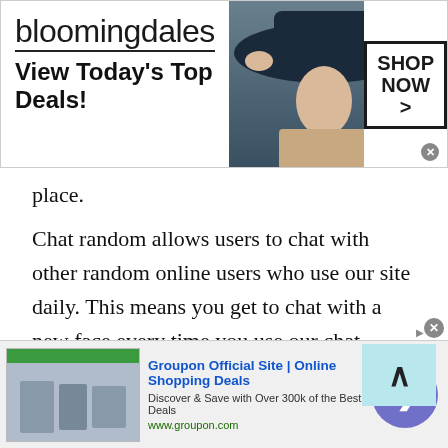[Figure (screenshot): Bloomingdale's advertisement banner: logo, 'View Today's Top Deals!' tagline, model in hat, 'SHOP NOW >' button]
place.
Chat random allows users to chat with other random online users who use our site daily. This means you get to chat with a new face every time you use our chat random feature which makes it an excellent way of building new connections with a stranger who might share the same interests as you do. You could even chat with them about new topics or issues that you did not know about.
Random chat features enable the youth, or teenagers to
[Figure (screenshot): Groupon Official Site | Online Shopping Deals advertisement: 'Discover & Save with Over 300k of the Best Deals', www.groupon.com, with arrow button]